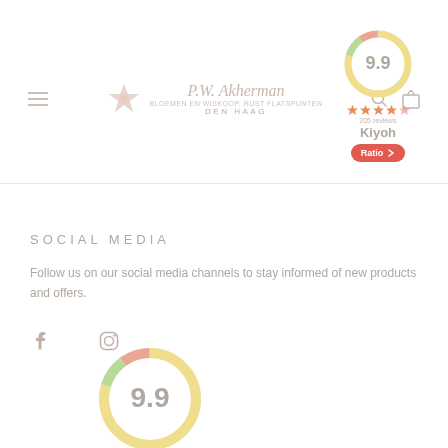[Figure (logo): P.W. Akherman store logo with decorative flower icon and text 'DEN HAAG']
[Figure (other): Kiyoh review badge top right showing rating 9.9, stars, review count, Kiyoh branding, and Rate button]
SOCIAL MEDIA
Follow us on our social media channels to stay informed of new products and offers.
[Figure (other): Facebook and Instagram social media icons]
[Figure (other): Kiyoh review badge bottom showing rating 9.9 in large circular gauge]